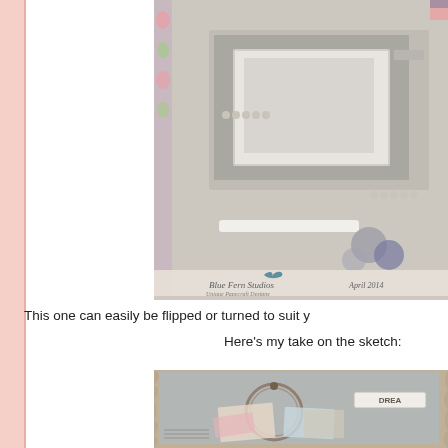[Figure (illustration): Scrapbooking sketch/template layout with decorative frames, floral elements, lace border, flowers, and Blue Fern Studios branding. April 2014.]
This one can easily be flipped or turned to suit y
Here's my take on the sketch:
[Figure (photo): Scrapbook layout photo with vintage aged paper look, circular frame, 'DREAM' label, postcards and photographs arranged on distressed blue background.]